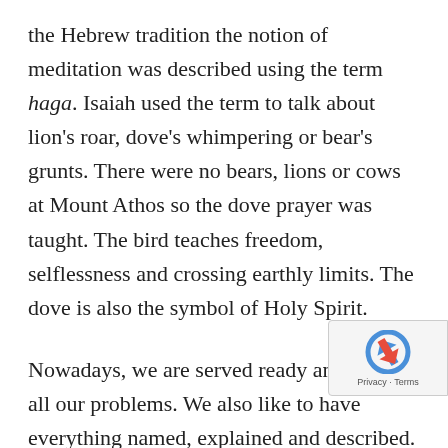the Hebrew tradition the notion of meditation was described using the term haga. Isaiah used the term to talk about lion's roar, dove's whimpering or bear's grunts. There were no bears, lions or cows at Mount Athos so the dove prayer was taught. The bird teaches freedom, selflessness and crossing earthly limits. The dove is also the symbol of Holy Spirit.
Nowadays, we are served ready answers to all our problems. We also like to have everything named, explained and described. It is a disease leading to spiritual death, because just like caught in our hands loses its freedom and dies,